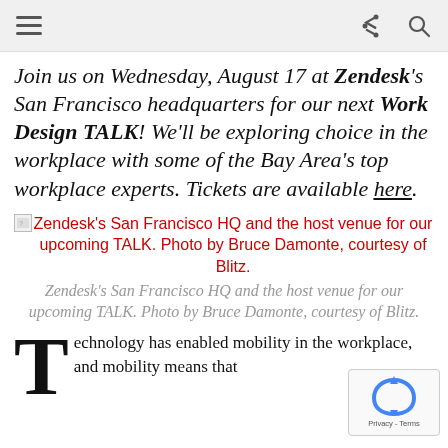[Navigation bar with hamburger menu, share icon, and search icon]
Join us on Wednesday, August 17 at Zendesk's San Francisco headquarters for our next Work Design TALK! We'll be exploring choice in the workplace with some of the Bay Area's top workplace experts. Tickets are available here.
[Figure (photo): Broken image placeholder with alt text: Zendesk's San Francisco HQ and the host venue for our upcoming TALK. Photo by Bruce Damonte, courtesy of Blitz.]
Zendesk's San Francisco HQ and the host venue for our upcoming TALK. Photo by Bruce Damonte, courtesy of Blitz.
Technology has enabled mobility in the workplace, and mobility means that